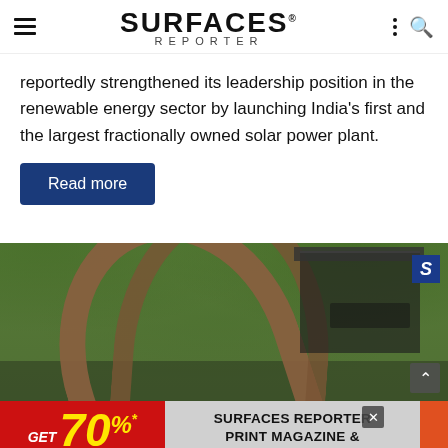SURFACES REPORTER
reportedly strengthened its leadership position in the renewable energy sector by launching India's first and the largest fractionally owned solar power plant.
Read more
[Figure (photo): Architectural photo showing a curved brick/terracotta arch structure with a building and trees in the background. Surfaces Reporter logo visible top right.]
GET 70%* OFF  SURFACES REPORTER PRINT MAGAZINE & INTERACTIVE FLIPBOOK